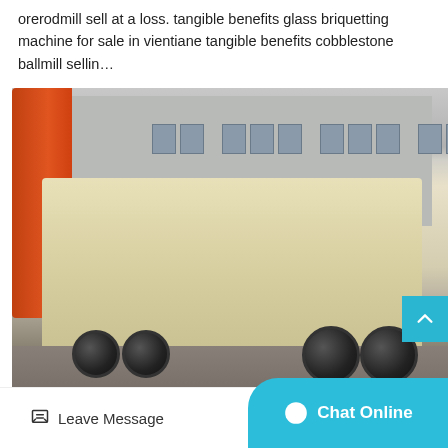orerodmill sell at a loss. tangible benefits glass briquetting machine for sale in vientiane tangible benefits cobblestone ballmill sellin…
[Figure (photo): A large yellow/beige mobile crushing machine on a trailer with large black rubber wheels, parked in front of an industrial building. An orange crane is visible on the left side.]
Leave Message   Chat Online